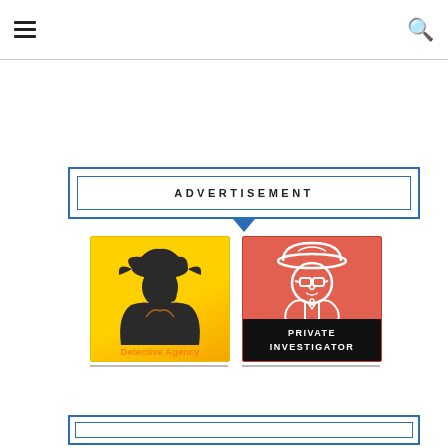☰ menu and 🔍 search icons
ADVERTISEMENT
[Figure (illustration): Two advertisement images side by side: left shows a Detective Agency logo with a dark silhouette of Sherlock Holmes figure on yellow/gold background; right shows a Private Investigator icon with a cartoon detective in hat and glasses on salmon/orange background with black banner at bottom.]